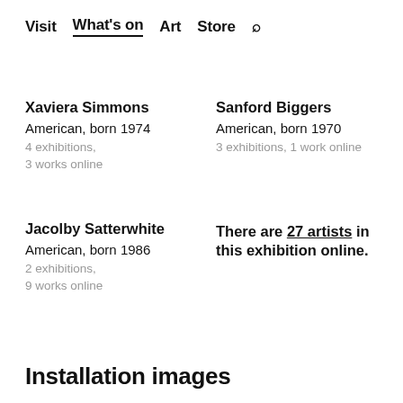Visit  What's on  Art  Store  🔍
Xaviera Simmons
American, born 1974
4 exhibitions,
3 works online
Sanford Biggers
American, born 1970
3 exhibitions, 1 work online
Jacolby Satterwhite
American, born 1986
2 exhibitions,
9 works online
There are 27 artists in this exhibition online.
Installation images